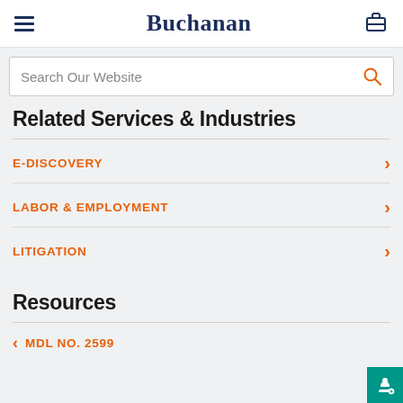Buchanan
Search Our Website
Related Services & Industries
E-DISCOVERY
LABOR & EMPLOYMENT
LITIGATION
Resources
MDL No. 2599